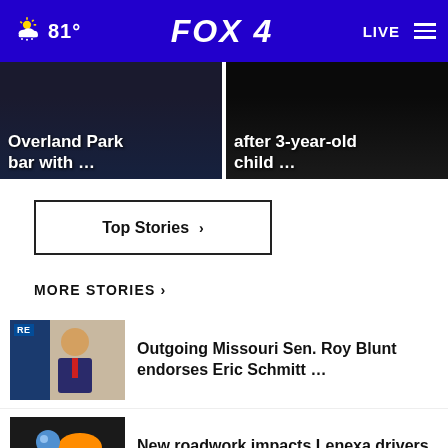FOX 4 — 81° LIVE
[Figure (screenshot): Hero image left: dark background with white bold text 'Overland Park bar with ...']
[Figure (screenshot): Hero image right: dark background with white bold text 'after 3-year-old child ...']
Top Stories ›
MORE STORIES ›
Outgoing Missouri Sen. Roy Blunt endorses Eric Schmitt …
New roadwork impacts Lenexa drivers starting Monday
Shawnee mom pleads guilty in death of 17-month-old …